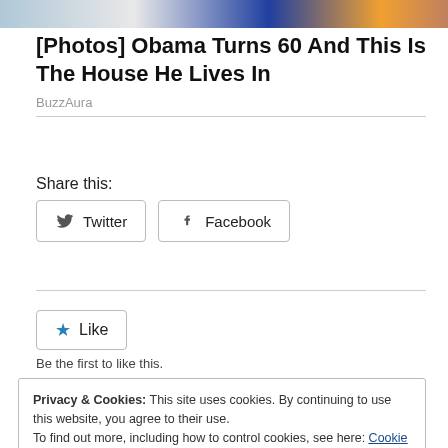[Figure (photo): Partial top banner image showing people, possibly Obama-related photo]
[Photos] Obama Turns 60 And This Is The House He Lives In
BuzzAura
Share this:
Twitter
Facebook
Like
Be the first to like this.
Privacy & Cookies: This site uses cookies. By continuing to use this website, you agree to their use.
To find out more, including how to control cookies, see here: Cookie Policy
Close and accept